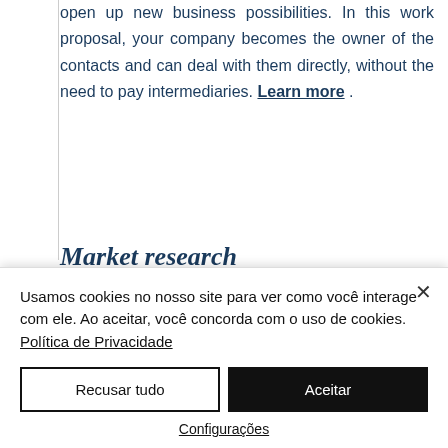open up new business possibilities. In this work proposal, your company becomes the owner of the contacts and can deal with them directly, without the need to pay intermediaries. Learn more .
Market research
Usamos cookies no nosso site para ver como você interage com ele. Ao aceitar, você concorda com o uso de cookies. Política de Privacidade